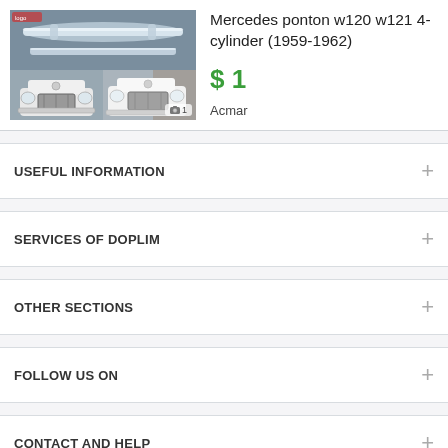[Figure (photo): Product photos showing Mercedes bumpers and front views of a white Mercedes ponton car]
Mercedes ponton w120 w121 4-cylinder (1959-1962)
$ 1
Acmar
USEFUL INFORMATION
SERVICES OF DOPLIM
OTHER SECTIONS
FOLLOW US ON
CONTACT AND HELP